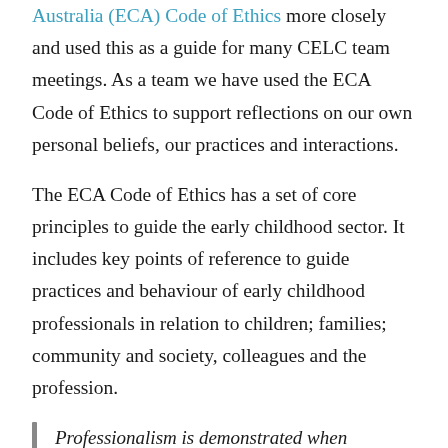Australia (ECA) Code of Ethics more closely and used this as a guide for many CELC team meetings. As a team we have used the ECA Code of Ethics to support reflections on our own personal beliefs, our practices and interactions.
The ECA Code of Ethics has a set of core principles to guide the early childhood sector. It includes key points of reference to guide practices and behaviour of early childhood professionals in relation to children; families; community and society, colleagues and the profession.
Professionalism is demonstrated when management, educators and other staff develop and maintain relationships with each other….. Team collaboration that is based on understanding the expectations and